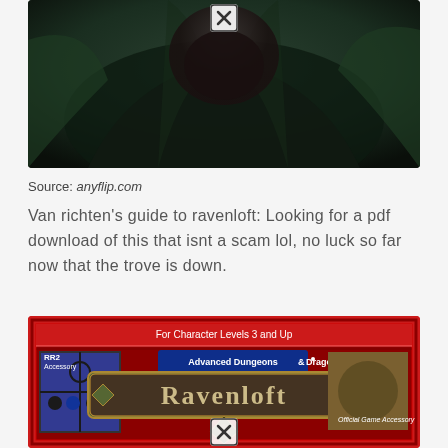[Figure (illustration): Dark fantasy illustration showing a cloaked figure in dark green and black tones with a close button overlay at top center]
Source: anyflip.com
Van richten's guide to ravenloft: Looking for a pdf download of this that isnt a scam lol, no luck so far now that the trove is down.
[Figure (illustration): Ravenloft Advanced Dungeons & Dragons game accessory box cover art with red border, RR2 Accessory label, number 9336, text 'For Character Levels 3 and Up', 'Official Game Accessory', featuring gothic lettering and castle/stained glass imagery. Close button at bottom center.]